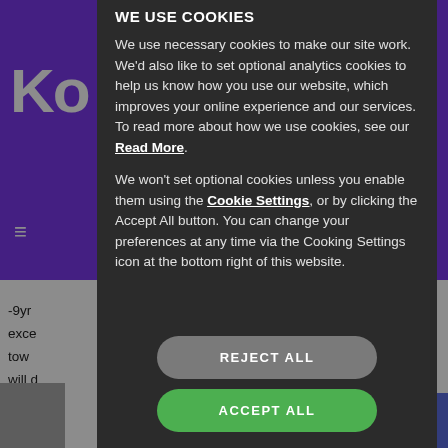We use cookies
We use necessary cookies to make our site work. We’d also like to set optional analytics cookies to help us know how you use our website, which improves your online experience and our services. To read more about how we use cookies, see our Read More.
We won’t set optional cookies unless you enable them using the Cookie Settings, or by clicking the Accept All button. You can change your preferences at any time via the Cooking Settings icon at the bottom right of this website.
REJECT ALL
ACCEPT ALL